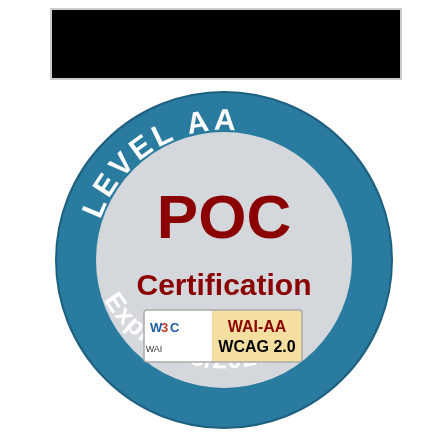[Figure (other): Black redacted bar at the top of the page]
[Figure (other): W3C WAI-AA WCAG 2.0 POC Certification Level AA badge, expires 8/2021. Circular badge with teal/blue border, grey interior, dark red 'POC Certification' text, W3C WAI-AA WCAG 2.0 logo, 'LEVEL AA' curved text at top, 'Expires 8/2021' curved text at bottom.]